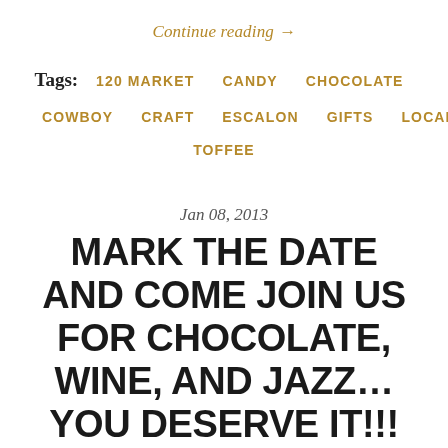Continue reading →
Tags: 120 MARKET  CANDY  CHOCOLATE  COWBOY  CRAFT  ESCALON  GIFTS  LOCAL  TOFFEE
Jan 08, 2013
MARK THE DATE AND COME JOIN US FOR CHOCOLATE, WINE, AND JAZZ… YOU DESERVE IT!!!
Like chocolate?  Then you will love The Union's Chocolate Infusion, an afternoon of chocolate, wine,